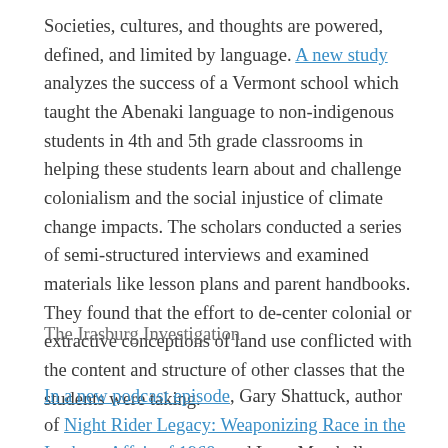Societies, cultures, and thoughts are powered, defined, and limited by language. A new study analyzes the success of a Vermont school which taught the Abenaki language to non-indigenous students in 4th and 5th grade classrooms in helping these students learn about and challenge colonialism and the social injustice of climate change impacts. The scholars conducted a series of semi-structured interviews and examined materials like lesson plans and parent handbooks. They found that the effort to de-center colonial or extractive conceptions of land use conflicted with the content and structure of other classes that the students were taking.
The Irasburg Investigation
In a new podcast episode, Gary Shattuck, author of Night Rider Legacy: Weaponizing Race in the Irasburg Affair of 1968, and Lane Marshall, a former Vermont State Trooper, and